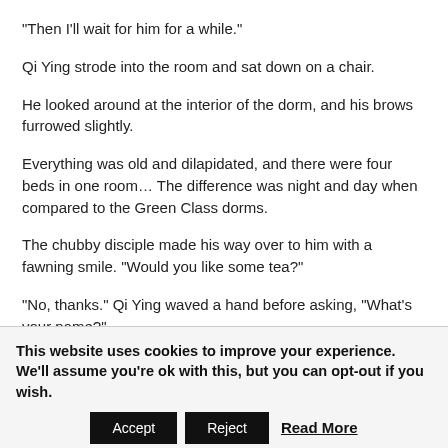“Then I’ll wait for him for a while.”
Qi Ying strode into the room and sat down on a chair.
He looked around at the interior of the dorm, and his brows furrowed slightly.
Everything was old and dilapidated, and there were four beds in one room… The difference was night and day when compared to the Green Class dorms.
The chubby disciple made his way over to him with a fawning smile. “Would you like some tea?”
“No, thanks.” Qi Ying waved a hand before asking, “What’s your name?”
This website uses cookies to improve your experience. We’ll assume you’re ok with this, but you can opt-out if you wish. Accept Reject Read More